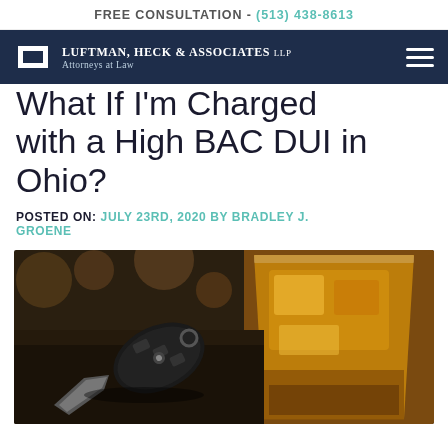FREE CONSULTATION - (513) 438-8613
[Figure (logo): Luftman, Heck & Associates LLP logo with navigation bar on dark navy background]
What If I'm Charged with a High BAC DUI in Ohio?
POSTED ON: JULY 23RD, 2020 BY BRADLEY J. GROENE
[Figure (photo): Close-up photo of a black car key fob on a table next to a glass of whiskey with ice cubes]